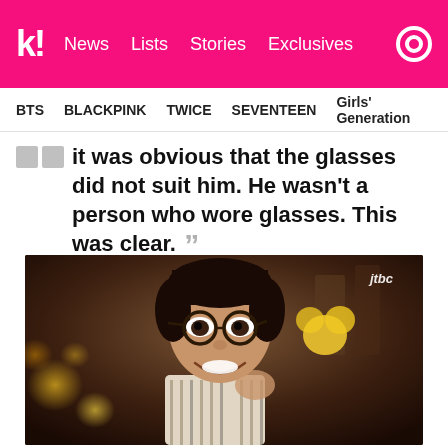k! News Lists Stories Exclusives
BTS BLACKPINK TWICE SEVENTEEN Girls' Generation
it was obvious that the glasses did not suit him. He wasn't a person who wore glasses. This was clear.
— Former manager
[Figure (photo): A young man with round glasses smiling, seated with a blurred background showing bokeh lights and Korean text. JTBC watermark in top right corner.]